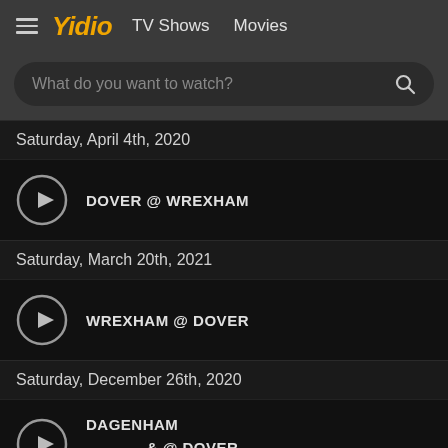≡ Yidio  TV Shows  Movies
What do you want to watch?
Saturday, April 4th, 2020
DOVER @ WREXHAM
Saturday, March 20th, 2021
WREXHAM @ DOVER
Saturday, December 26th, 2020
DAGENHAM & @ DOVER
REDBRIDGE